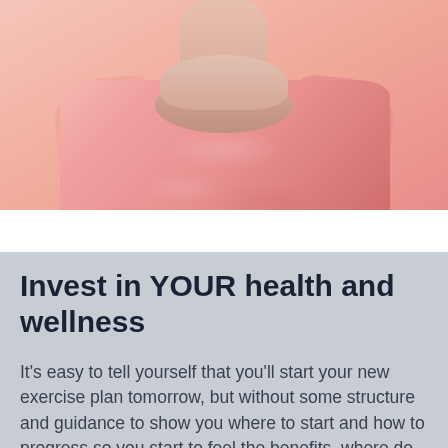[Figure (photo): Person wearing a pink t-shirt, showing torso and neck area on white background]
Invest in YOUR health and wellness
It's easy to tell yourself that you'll start your new exercise plan tomorrow, but without some structure and guidance to show you where to start and how to progress so you start to feel the benefits, where do